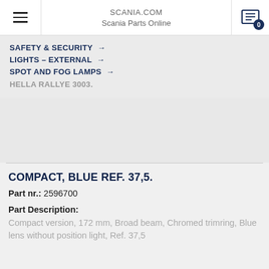SCANIA.COM
Scania Parts Online
SAFETY & SECURITY →
LIGHTS – EXTERNAL →
SPOT AND FOG LAMPS →
HELLA RALLYE 3003.
COMPACT, BLUE REF. 37,5.
Part nr.: 2596700
Part Description:
Compact version, 172 mm, Broad beam, Chromed trimring, Blue lens without position light, Ref. 37,5